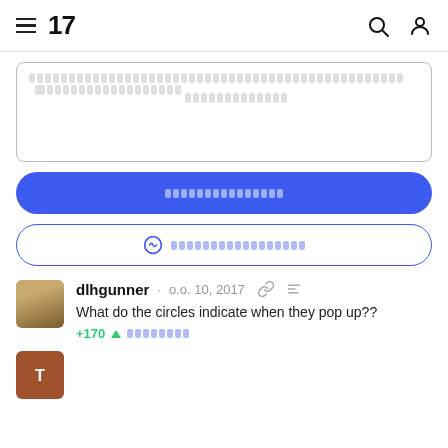TradingView navigation header with hamburger menu, logo '17', search and user icons
[Text input box with placeholder text - redacted/blurred]
[Primary blue button - redacted/blurred]
[Secondary button with messenger icon - redacted/blurred]
dlhgunner · о.о. 10, 2017
What do the circles indicate when they pop up??
+170 ▲ [reply button]
[Second comment user avatar - partial]